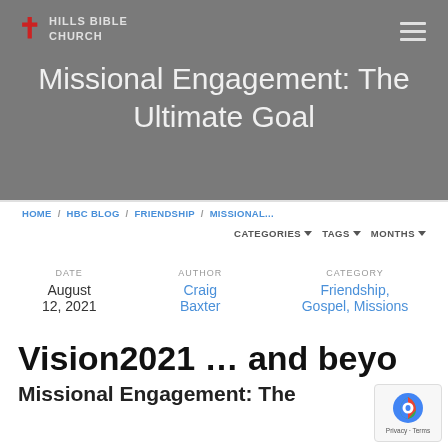Hills Bible Church
Missional Engagement: The Ultimate Goal
HOME / HBC BLOG / FRIENDSHIP / MISSIONAL...
CATEGORIES   TAGS   MONTHS
DATE: August 12, 2021 | AUTHOR: Craig Baxter | CATEGORY: Friendship, Gospel, Missions
Vision2021 … and beyond: Missional Engagement: The Ultimate Goal